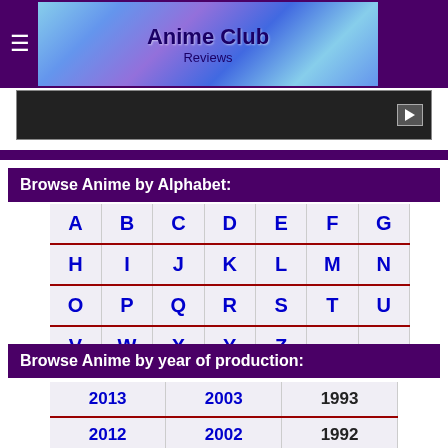Anime Club Reviews
[Figure (screenshot): Video player area showing a dark video frame with play button]
Browse Anime by Alphabet:
| A | B | C | D | E | F | G |
| H | I | J | K | L | M | N |
| O | P | Q | R | S | T | U |
| V | W | X | Y | Z |  |  |
Browse Anime by year of production:
| 2013 | 2003 | 1993 |
| 2012 | 2002 | 1992 |
| 2011 | 2001 | 1991 |